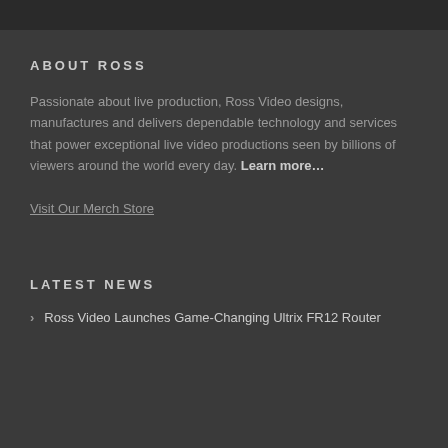ABOUT ROSS
Passionate about live production, Ross Video designs, manufactures and delivers dependable technology and services that power exceptional live video productions seen by billions of viewers around the world every day. Learn more…
Visit Our Merch Store
LATEST NEWS
Ross Video Launches Game-Changing Ultrix FR12 Router